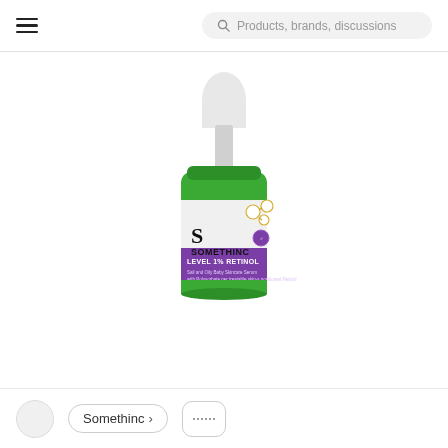Products, brands, discussions
[Figure (photo): Somethinc Level 1% Retinol serum product in a green dropper bottle with white dropper cap and a white/purple label showing the brand name SOMETHINC and product name LEVEL 1% RETINOL]
Somethinc >